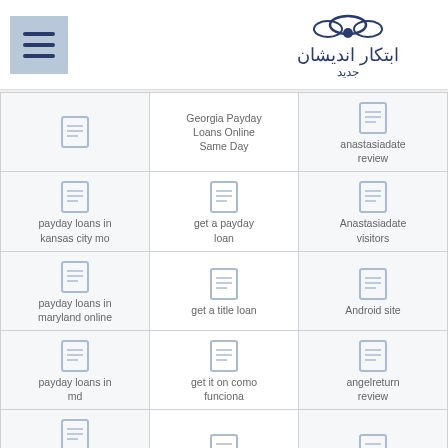Navigation menu and logo header
| Col1 | Col2 | Col3 |
| --- | --- | --- |
| [icon] | Georgia Payday Loans Online Same Day | [icon] anastasiadate review |
| [icon] payday loans in kansas city mo | [icon] get a payday loan | [icon] Anastasiadate visitors |
| [icon] payday loans in maryland online | [icon] get a title loan | [icon] Android site |
| [icon] payday loans in md | [icon] get it on como funciona | [icon] angelreturn review |
| [icon] payday loans lancaster ca | [icon] | [icon] |